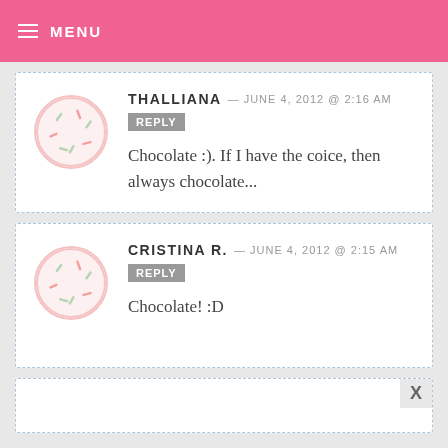MENU
THALLIANA — JUNE 4, 2012 @ 2:16 AM  REPLY
Chocolate :). If I have the coice, then always chocolate...
CRISTINA R. — JUNE 4, 2012 @ 2:15 AM  REPLY
Chocolate! :D
[Figure (screenshot): Partial comment box with X close button]
[Figure (infographic): SHE Partner Network advertisement banner: We help content creators grow businesses through... Learn More. Become a member.]